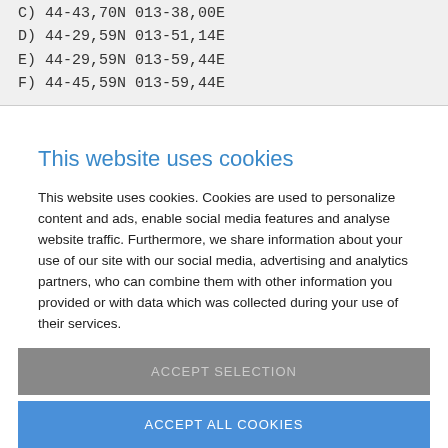C)  44-43,70N  013-38,00E
D)  44-29,59N  013-51,14E
E)  44-29,59N  013-59,44E
F)  44-45,59N  013-59,44E
This website uses cookies
This website uses cookies. Cookies are used to personalize content and ads, enable social media features and analyse website traffic. Furthermore, we share information about your use of our site with our social media, advertising and analytics partners, who can combine them with other information you provided or with data which was collected during your use of their services.
Cookies are small text files that are used by web pages to enhance
Necessary [checked] | For settings [ ] | Statistical cookies [ ] | Marketing cookies [ ]
ACCEPT SELECTION
ACCEPT ALL COOKIES